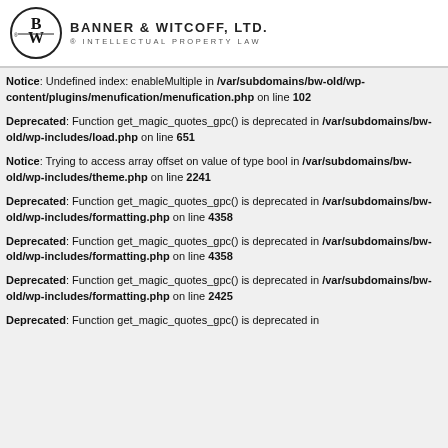Banner & Witcoff, Ltd. Intellectual Property Law
Notice: Undefined index: enableMultiple in /var/subdomains/bw-old/wp-content/plugins/menufication/menufication.php on line 102
Deprecated: Function get_magic_quotes_gpc() is deprecated in /var/subdomains/bw-old/wp-includes/load.php on line 651
Notice: Trying to access array offset on value of type bool in /var/subdomains/bw-old/wp-includes/theme.php on line 2241
Deprecated: Function get_magic_quotes_gpc() is deprecated in /var/subdomains/bw-old/wp-includes/formatting.php on line 4358
Deprecated: Function get_magic_quotes_gpc() is deprecated in /var/subdomains/bw-old/wp-includes/formatting.php on line 4358
Deprecated: Function get_magic_quotes_gpc() is deprecated in /var/subdomains/bw-old/wp-includes/formatting.php on line 2425
Deprecated: Function get_magic_quotes_gpc() is deprecated in /var/subdomains/bw-old/wp-includes/formatting.php on line ...